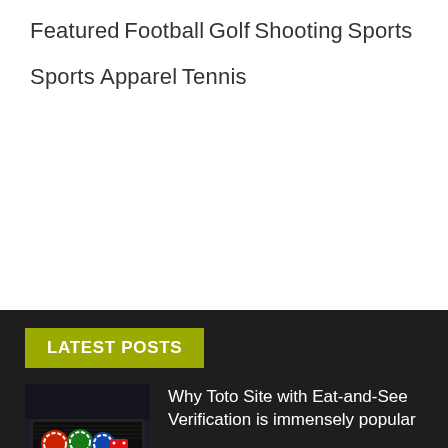Featured
Football
Golf
Shooting
Sports
Sports Apparel
Tennis
LATEST POSTS
Why Toto Site with Eat-and-See Verification is immensely popular